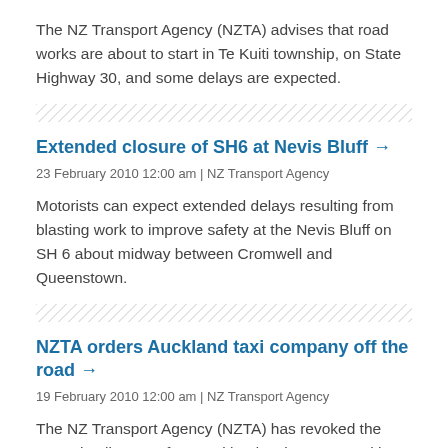The NZ Transport Agency (NZTA) advises that road works are about to start in Te Kuiti township, on State Highway 30, and some delays are expected.
Extended closure of SH6 at Nevis Bluff →
23 February 2010 12:00 am | NZ Transport Agency
Motorists can expect extended delays resulting from blasting work to improve safety at the Nevis Bluff on SH 6 about midway between Cromwell and Queenstown.
NZTA orders Auckland taxi company off the road →
19 February 2010 12:00 am | NZ Transport Agency
The NZ Transport Agency (NZTA) has revoked the operating licence of an Auckland taxi company with a fleet of approximately 300 vehicles.